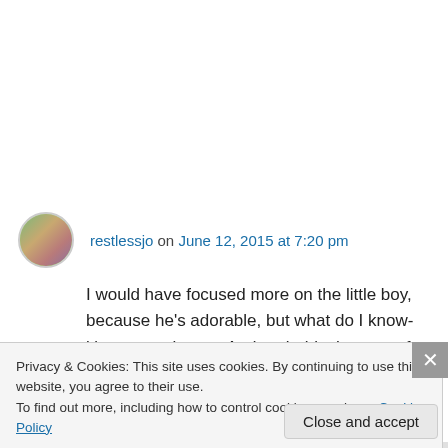restlessjo on June 12, 2015 at 7:20 pm
I would have focused more on the little boy, because he's adorable, but what do I know- it's personal taste. And probably the same for the bride and groom. I'd like to see the cropped version. I'm really not much for street photography. You're doing a great job. 🙂
Privacy & Cookies: This site uses cookies. By continuing to use this website, you agree to their use.
To find out more, including how to control cookies, see here: Cookie Policy
Close and accept